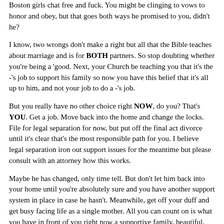Boston girls chat free and fuck. You might be clinging to vows to honor and obey, but that goes both ways he promised to you, didn't he?
I know, two wrongs don't make a right but all that the Bible teaches about marriage and is for BOTH partners. So stop doubting whether you're being a 'good. Next, your Church be teaching you that it's the -'s job to support his family so now you have this belief that it's all up to him, and not your job to do a -'s job.
But you really have no other choice right NOW, do you? That's YOU. Get a job. Move back into the home and change the locks. File for legal separation for now, but put off the final act divorce until it's clear that's the most responsible path for you. I believe legal separation iron out support issues for the meantime but please consult with an attorney how this works.
Maybe he has changed, only time tell. But don't let him back into your home until you're absolutely sure and you have another support system in place in case he hasn't. Meanwhile, get off your duff and get busy facing life as a single mother. All you can count on is what you have in front of you right now a supportive family, beautiful, and a non-supportive abusive husband.
And yourself. And God. Get schooling, get a job, get a life that doesn't depend on him. If you choose to let him back into your life